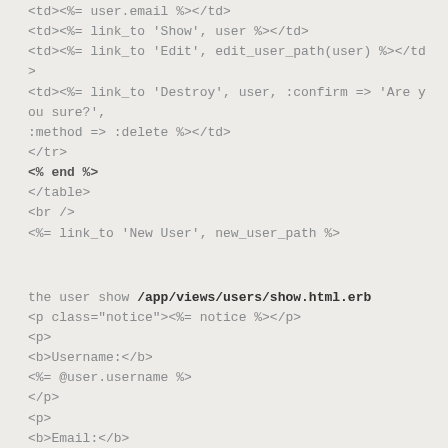<td><%= user.email %></td>
<td><%= link_to 'Show', user %></td>
<td><%= link_to 'Edit', edit_user_path(user) %></td>
<td><%= link_to 'Destroy', user, :confirm => 'Are you sure?', :method => :delete %></td>
</tr>
<% end %>
</table>
<br />
<%= link_to 'New User', new_user_path %>
the user show /app/views/users/show.html.erb
<p class="notice"><%= notice %></p>
<p>
<b>Username:</b>
<%= @user.username %>
</p>
<p>
<b>Email:</b>
<%= @user.email %>
</p>